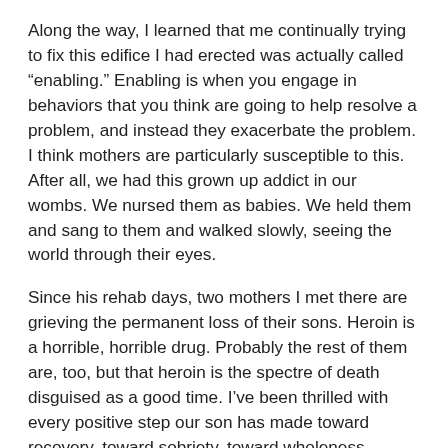Along the way, I learned that me continually trying to fix this edifice I had erected was actually called “enabling.” Enabling is when you engage in behaviors that you think are going to help resolve a problem, and instead they exacerbate the problem. I think mothers are particularly susceptible to this. After all, we had this grown up addict in our wombs. We nursed them as babies. We held them and sang to them and walked slowly, seeing the world through their eyes.
Since his rehab days, two mothers I met there are grieving the permanent loss of their sons. Heroin is a horrible, horrible drug. Probably the rest of them are, too, but that heroin is the spectre of death disguised as a good time. I’ve been thrilled with every positive step our son has made toward recovery, toward sobriety, toward wholeness.
This is a child who loves his mama. He hates to see me sad. He is one who begs for help but also resists change. But...